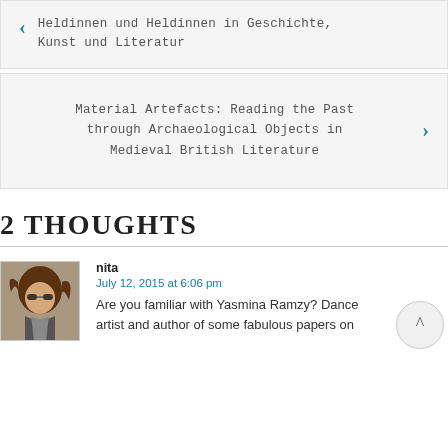Heldinnen und Heldinnen in Geschichte, Kunst und Literatur
Material Artefacts: Reading the Past through Archaeological Objects in Medieval British Literature
2 THOUGHTS
nita
July 12, 2015 at 6:06 pm
Are you familiar with Yasmina Ramzy? Dance artist and author of some fabulous papers on